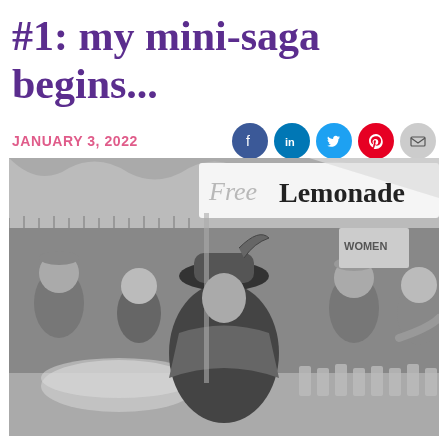#1: my mini-saga begins...
JANUARY 3, 2022
[Figure (photo): Black and white photograph of a woman in an ornate hat and fur-trimmed outfit at a 'Free Lemonade' stand, surrounded by children and onlookers]
Free Lemonade